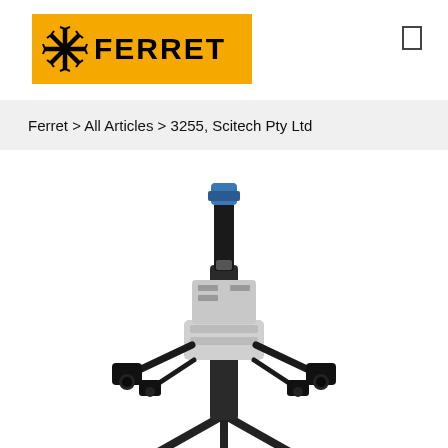[Figure (logo): Ferret logo: yellow rectangle background with a black asterisk/starburst icon and bold black text FERRET]
Ferret > All Articles > 3255, Scitech Pty Ltd
[Figure (photo): Scientific/optical instrument - appears to be a precision microscope or profilometer with multiple camera modules, black cylindrical components, and a blue-capped lens at the top, shown on a white background]